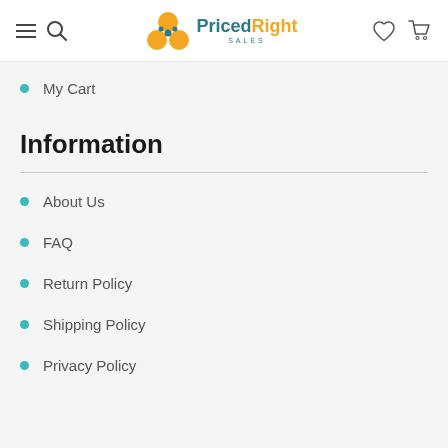PricedRight Sales
My Cart
Information
About Us
FAQ
Return Policy
Shipping Policy
Privacy Policy